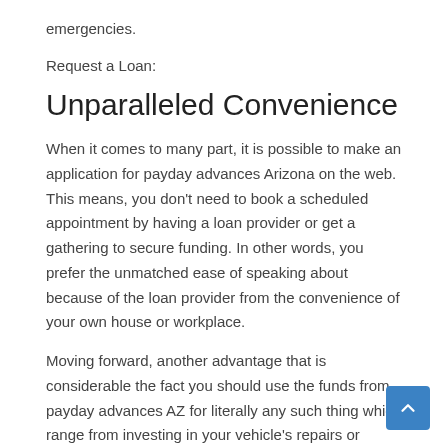emergencies.
Request a Loan:
Unparalleled Convenience
When it comes to many part, it is possible to make an application for payday advances Arizona on the web. This means, you don't need to book a scheduled appointment by having a loan provider or get a gathering to secure funding. In other words, you prefer the unmatched ease of speaking about because of the loan provider from the convenience of your own house or workplace.
Moving forward, another advantage that is considerable the fact you should use the funds from payday advances AZ for literally any such thing which range from investing in your vehicle's repairs or spending an electricity bill.